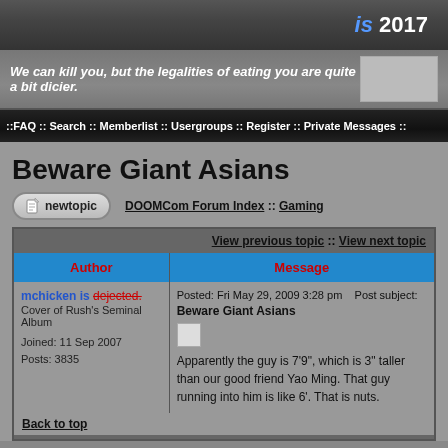is 2017
We can kill you, but the legalities of eating you are quite a bit dicier.
::FAQ :: Search :: Memberlist :: Usergroups :: Register :: Private Messages ::
Beware Giant Asians
DOOMCom Forum Index :: Gaming
| Author | Message |
| --- | --- |
| mchicken is dejected.
Cover of Rush's Seminal Album
Joined: 11 Sep 2007
Posts: 3835 | Posted: Fri May 29, 2009 3:28 pm   Post subject: Beware Giant Asians

Apparently the guy is 7'9", which is 3" taller than our good friend Yao Ming. That guy running into him is like 6'. That is nuts. |
Back to top